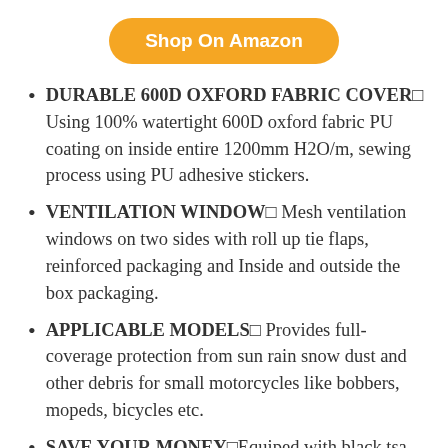[Figure (other): Orange rounded button labeled 'Shop On Amazon']
DURABLE 600D OXFORD FABRIC COVER□ Using 100% watertight 600D oxford fabric PU coating on inside entire 1200mm H2O/m, sewing process using PU adhesive stickers.
VENTILATION WINDOW□ Mesh ventilation windows on two sides with roll up tie flaps, reinforced packaging and Inside and outside the box packaging.
APPLICABLE MODELS□ Provides full-coverage protection from sun rain snow dust and other debris for small motorcycles like bobbers, mopeds, bicycles etc.
SAVE YOUR MONEY□Equiped with black tsa code